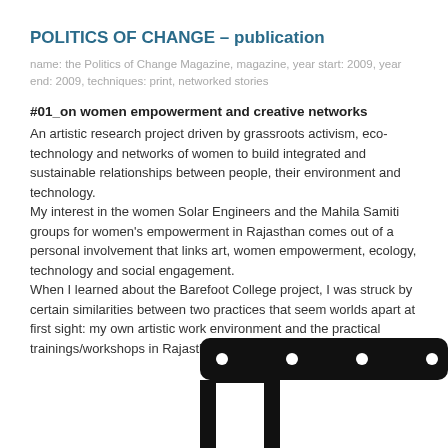POLITICS OF CHANGE – publication
name: the Politics of Change Magazine, magazine, year start: 2009, year end: 2009, techniques: print, networked stories
#01_on women empowerment and creative networks
An artistic research project driven by grassroots activism, eco-technology and networks of women to build integrated and sustainable relationships between people, their environment and technology.
My interest in the women Solar Engineers and the Mahila Samiti groups for women's empowerment in Rajasthan comes out of a personal involvement that links art, women empowerment, ecology, technology and social engagement.
When I learned about the Barefoot College project, I was struck by certain similarities between two practices that seem worlds apart at first sight: my own artistic work environment and the practical trainings/workshops in Rajasthan.
[Figure (illustration): Partial black T-shaped or bracket-shaped hardware/electronic component illustration visible at bottom of page, with circular bolt holes along the top edge.]